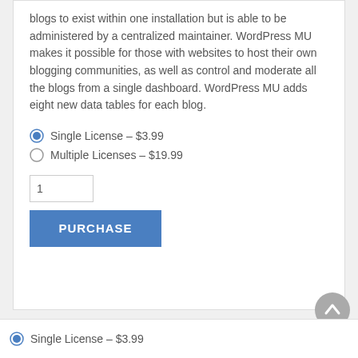blogs to exist within one installation but is able to be administered by a centralized maintainer. WordPress MU makes it possible for those with websites to host their own blogging communities, as well as control and moderate all the blogs from a single dashboard. WordPress MU adds eight new data tables for each blog.
Single License – $3.99
Multiple Licenses – $19.99
[Figure (screenshot): Quantity input field showing value 1, and a blue PURCHASE button below it]
[Figure (other): Gray circular scroll-to-top button with upward chevron arrow]
Single License – $3.99